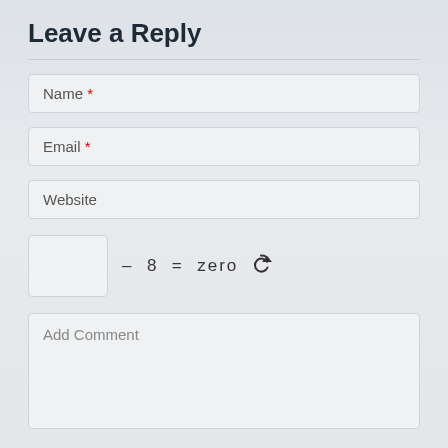Leave a Reply
Name *
Email *
Website
– 8 = zero
Add Comment